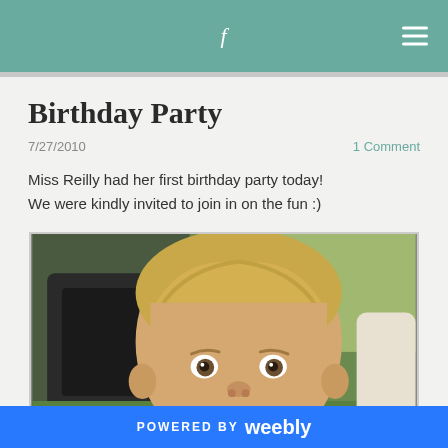f
Birthday Party
7/27/2010   1 Comment
Miss Reilly had her first birthday party today! We were kindly invited to join in on the fun :)
[Figure (photo): A toddler with blonde hair sitting outdoors at a birthday party, looking toward the camera. Green grass and a stroller visible in the background.]
POWERED BY weebly